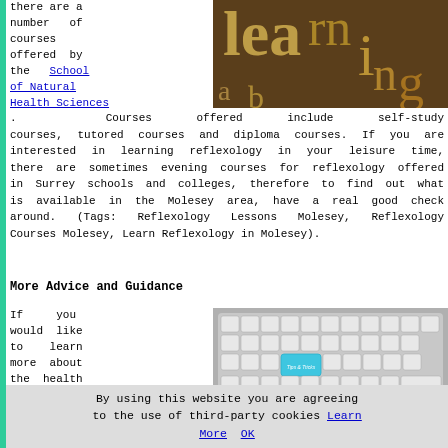there are a number of courses offered by the School of Natural Health Sciences.
[Figure (photo): Wooden letters scattered on a dark background, spelling learning-related content]
Courses offered include self-study courses, tutored courses and diploma courses. If you are interested in learning reflexology in your leisure time, there are sometimes evening courses for reflexology offered in Surrey schools and colleges, therefore to find out what is available in the Molesey area, have a real good check around. (Tags: Reflexology Lessons Molesey, Reflexology Courses Molesey, Learn Reflexology in Molesey).
More Advice and Guidance
If you would like to learn more about the health benefits of reflexology
[Figure (photo): Close-up of a white keyboard with a blue 'Tips & Tricks' key highlighted]
By using this website you are agreeing to the use of third-party cookies Learn More OK